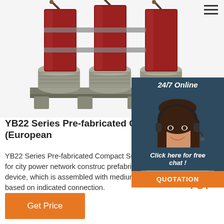[Figure (photo): Industrial transformer / pre-fabricated compact substation equipment in red and gray, viewed from front-low angle on white background]
[Figure (photo): Customer service representative woman with headset smiling, overlaid on dark blue panel with 24/7 Online label, Click here for free chat button, and QUOTATION orange button]
YB22 Series Pre-fabricated Compact Subs (European
YB22 Series Pre-fabricated Compact Subs (European Type) Model NO. YB series of p designed for city power network construc prefabricated electrical substation is a set of power distribution device, which is assembled with medium voltage switchgear, transformer, low voltage switchgear based on indicated connection.
[Figure (infographic): TOP scroll-to-top icon with orange dots and TOP text in orange]
Get Price